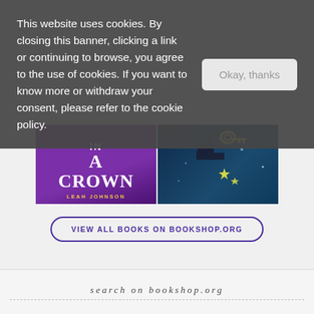This website uses cookies. By closing this banner, clicking a link or continuing to browse, you agree to the use of cookies. If you want to know more or withdraw your consent, please refer to the cookie policy.
[Figure (screenshot): Two book covers side by side: left is 'In a Crown' by Leah Johnson with purple background, right is a dark blue book cover with stars and a key illustration]
VIEW ALL BOOKS ON BOOKSHOP.ORG
search on bookshop.org